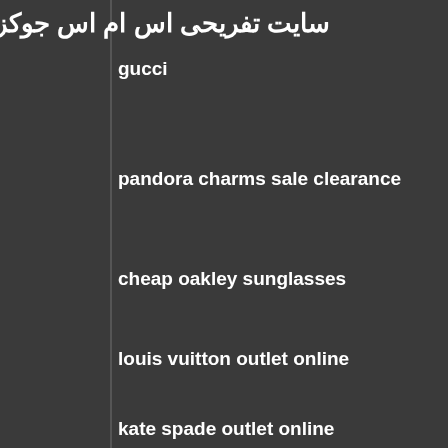سایت تفریحی اس ام اس جوکز
gucci
pandora charms sale clearance
cheap oakley sunglasses
louis vuitton outlet online
kate spade outlet online